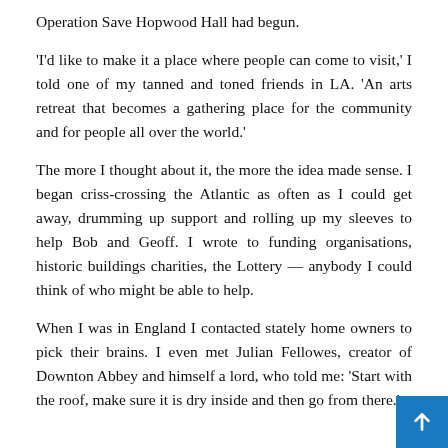Operation Save Hopwood Hall had begun.
'I'd like to make it a place where people can come to visit,' I told one of my tanned and toned friends in LA. 'An arts retreat that becomes a gathering place for the community and for people all over the world.'
The more I thought about it, the more the idea made sense. I began criss-crossing the Atlantic as often as I could get away, drumming up support and rolling up my sleeves to help Bob and Geoff. I wrote to funding organisations, historic buildings charities, the Lottery — anybody I could think of who might be able to help.
When I was in England I contacted stately home owners to pick their brains. I even met Julian Fellowes, creator of Downton Abbey and himself a lord, who told me: 'Start with the roof, make sure it is dry inside and then go from there.'